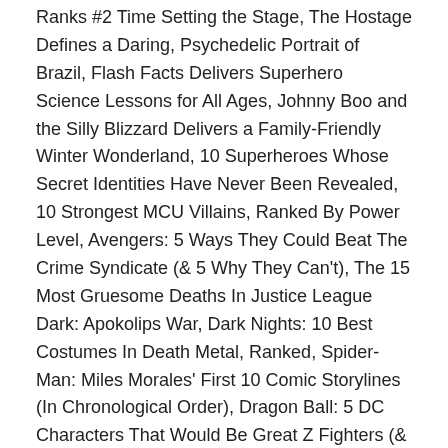Ranks #2 Time Setting the Stage, The Hostage Defines a Daring, Psychedelic Portrait of Brazil, Flash Facts Delivers Superhero Science Lessons for All Ages, Johnny Boo and the Silly Blizzard Delivers a Family-Friendly Winter Wonderland, 10 Superheroes Whose Secret Identities Have Never Been Revealed, 10 Strongest MCU Villains, Ranked By Power Level, Avengers: 5 Ways They Could Beat The Crime Syndicate (& 5 Why They Can't), The 15 Most Gruesome Deaths In Justice League Dark: Apokolips War, Dark Nights: 10 Best Costumes In Death Metal, Ranked, Spider-Man: Miles Morales' First 10 Comic Storylines (In Chronological Order), Dragon Ball: 5 DC Characters That Would Be Great Z Fighters (& 5 That Wouldn't Make The Cut), Ocarina of Time: 10 Times The Manga Was Better Than The Game, 10 Things To Know Before Watching Batman: Soul Of The Dragon, 10 Times Superman Couldn't Hold Himself Back, 10 Darkest Things About Future State (So Far). Anyone that can fight Green Lantern is a tough customer. RELATED: Wolverine's 10 Most Brutal Last Stands. Her skills as a combatant combined with her own abilities already give her an